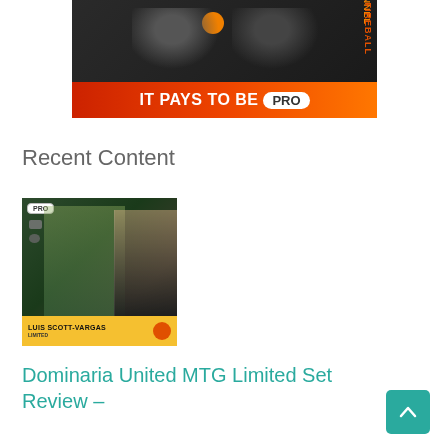[Figure (photo): Advertisement banner showing two people in Channel Fireball shirts with text 'IT PAYS TO BE PRO' in orange/red gradient bar]
Recent Content
[Figure (photo): Thumbnail showing Luis Scott-Vargas with fantasy card art, PRO badge, LIMITED label, and channel fireball logo]
Dominaria United MTG Limited Set Review –